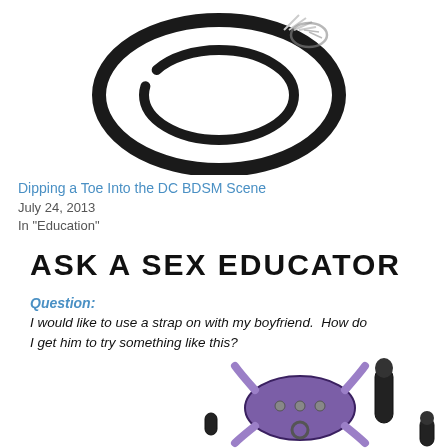[Figure (photo): A coiled black leather whip with white cord fringe at the tip, photographed on a white background.]
Dipping a Toe Into the DC BDSM Scene
July 24, 2013
In "Education"
ASK A SEX EDUCATOR
Question:
I would like to use a strap on with my boyfriend.  How do I get him to try something like this?
[Figure (photo): A purple and black strap-on harness with attachments, photographed on a white background.]